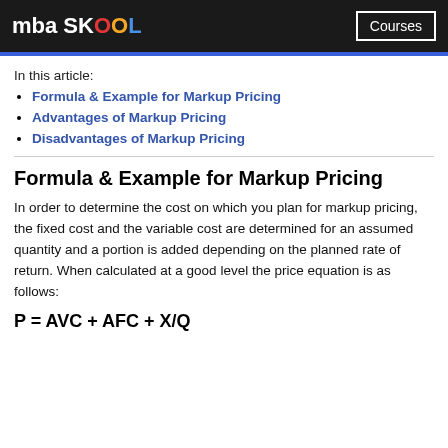mba SKOOL   Courses
In this article:
Formula & Example for Markup Pricing
Advantages of Markup Pricing
Disadvantages of Markup Pricing
Formula & Example for Markup Pricing
In order to determine the cost on which you plan for markup pricing, the fixed cost and the variable cost are determined for an assumed quantity and a portion is added depending on the planned rate of return. When calculated at a good level the price equation is as follows: